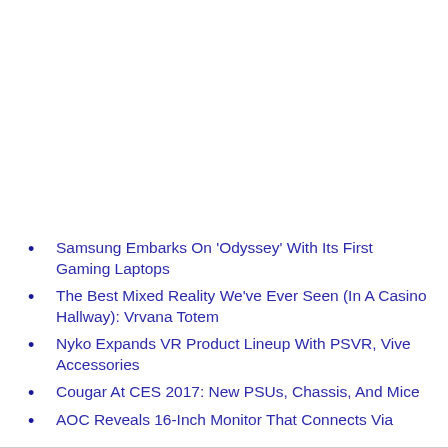Samsung Embarks On 'Odyssey' With Its First Gaming Laptops
The Best Mixed Reality We've Ever Seen (In A Casino Hallway): Vrvana Totem
Nyko Expands VR Product Lineup With PSVR, Vive Accessories
Cougar At CES 2017: New PSUs, Chassis, And Mice
AOC Reveals 16-Inch Monitor That Connects Via